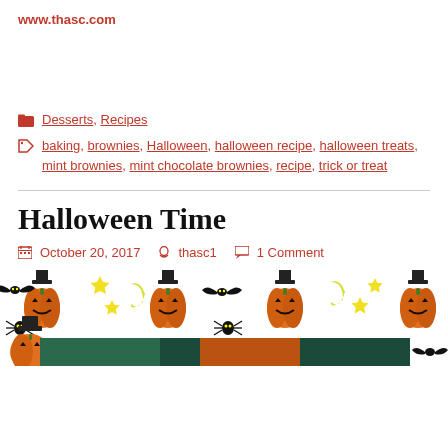www.thasc.com
Desserts, Recipes
baking, brownies, Halloween, halloween recipe, halloween treats, mint brownies, mint chocolate brownies, recipe, trick or treat
Halloween Time
October 20, 2017   thasc1   1 Comment
[Figure (illustration): Halloween decorative strip with jack-o-lanterns, bats, stars, moons, and spiders. Below is a partial photo of Halloween items with orange and teal colors.]